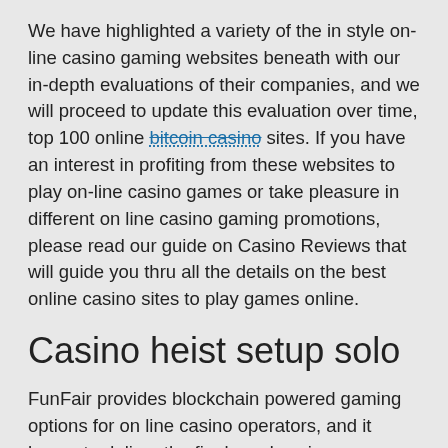We have highlighted a variety of the in style on-line casino gaming websites beneath with our in-depth evaluations of their companies, and we will proceed to update this evaluation over time, top 100 online bitcoin casino sites. If you have an interest in profiting from these websites to play on-line casino games or take pleasure in different on line casino gaming promotions, please read our guide on Casino Reviews that will guide you thru all the details on the best online casino sites to play games online.
Casino heist setup solo
FunFair provides blockchain powered gaming options for on line casino operators, and it hopes to deliver the final word casino experience for end customers with simpler setup and decrease costof entry via its